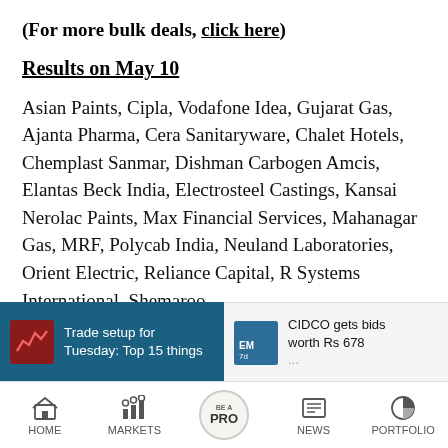(For more bulk deals, click here)
Results on May 10
Asian Paints, Cipla, Vodafone Idea, Gujarat Gas, Ajanta Pharma, Cera Sanitaryware, Chalet Hotels, Chemplast Sanmar, Dishman Carbogen Amcis, Elantas Beck India, Electrosteel Castings, Kansai Nerolac Paints, Max Financial Services, Mahanagar Gas, MRF, Polycab India, Neuland Laboratories, Orient Electric, Reliance Capital, R Systems International, Shemaroo
[Figure (screenshot): Bottom banner with two news items: 'Trade setup for Tuesday: Top 15 things' and 'CIDCO gets bids worth Rs 678...']
[Figure (screenshot): Bottom navigation bar with: HOME, MARKETS, BE A PRO, NEWS, PORTFOLIO]